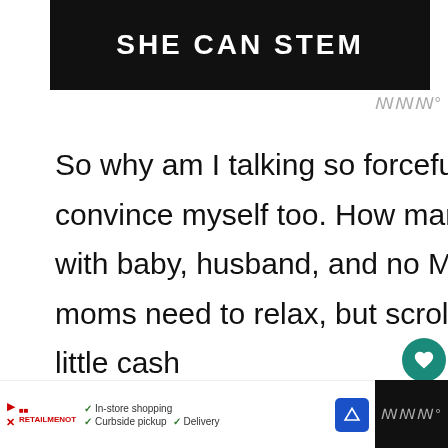[Figure (other): SHE CAN STEM advertisement banner with white bold text on dark/black background]
So why am I talking so forcefully? I kind of need to convince myself too. How many full days go by, packed with baby, husband, and no ME. Here are five reasons moms need to relax, but scroll to the bottom to win a little cash you do so!
[Figure (other): WHAT'S NEXT widget showing DIY Recycled Jeans Purse... with thumbnail image]
[Figure (other): Bottom advertisement bar with In-store shopping, Curbside pickup, Delivery options from a retail store]